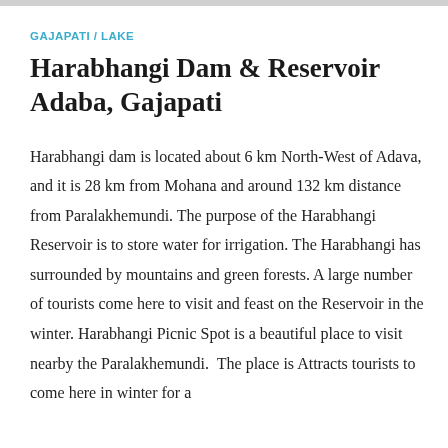GAJAPATI / LAKE
Harabhangi Dam & Reservoir Adaba, Gajapati
Harabhangi dam is located about 6 km North-West of Adava, and it is 28 km from Mohana and around 132 km distance from Paralakhemundi. The purpose of the Harabhangi Reservoir is to store water for irrigation. The Harabhangi has surrounded by mountains and green forests. A large number of tourists come here to visit and feast on the Reservoir in the winter. Harabhangi Picnic Spot is a beautiful place to visit nearby the Paralakhemundi. The place is Attracts tourists to come here in winter for a